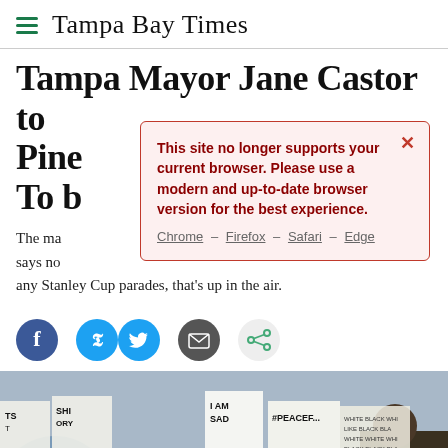Tampa Bay Times
Tampa Bay Mayor Jane Castor to Pine... ks. To b...
The ma... says no... any Stanley Cup parades, that's up in the air.
[Figure (screenshot): Browser compatibility modal dialog with red border on pink background reading: 'This site no longer supports your current browser. Please use a modern and up-to-date browser version for the best experience.' with links to Chrome – Firefox – Safari – Edge]
[Figure (photo): Crowd of protesters at demonstration with signs reading 'I AM SAD', '#PEACEFUL', 'HUMAN' and others; a woman in a blue mask visible in center]
[Figure (other): Social sharing icons: Facebook, Twitter, Email, Share]